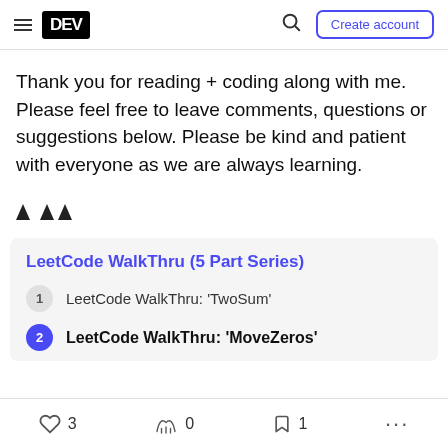DEV — Create account
Thank you for reading + coding along with me. Please feel free to leave comments, questions or suggestions below. Please be kind and patient with everyone as we are always learning.
[Figure (illustration): Three mountain/hat emoji icons]
LeetCode WalkThru (5 Part Series)
1  LeetCode WalkThru: 'TwoSum'
2  LeetCode WalkThru: 'MoveZeros'
3 likes  0 unicorns  1 bookmark  more options